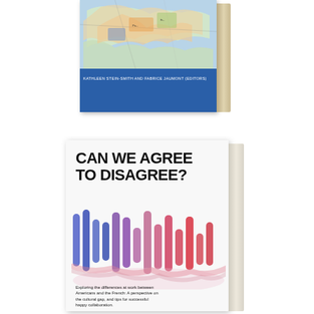[Figure (photo): Top book cover with blue background, colorful map image at top, and text reading 'KATHLEEN STEIN-SMITH AND FABRICE JAUMONT (EDITORS)' in white on blue band]
[Figure (photo): Bottom book cover for 'CAN WE AGREE TO DISAGREE?' showing colorful watercolor brush-stroke wave patterns in blue, purple, pink, and red, with subtitle text about differences between Americans and the French]
Exploring the differences at work between Americans and the French: A perspective on the cultural gap, and tips for successful happy collaboration.